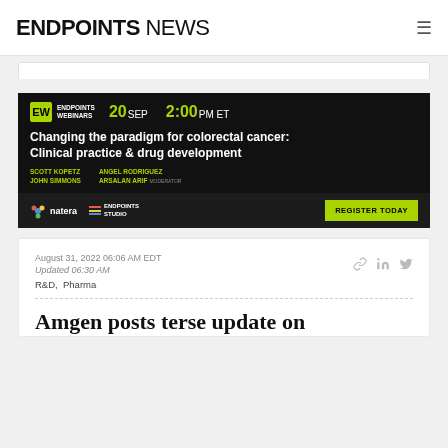ENDPOINTS NEWS
[Figure (infographic): Endpoints Webinars advertisement banner for a webinar on September 20 at 2:00 PM ET titled 'Changing the paradigm for colorectal cancer: Clinical practice & drug development', featuring speakers Scott Kopetz, John Simmons, Angel Rodriguez, and Arsalan Arif (Moderator), sponsored by Natera and Endpoints Studio, with a Register Today button.]
August 31, 2022 06:06 AM EDT
Updated 06:30 AM
R&D, Pharma
Amgen posts terse update on